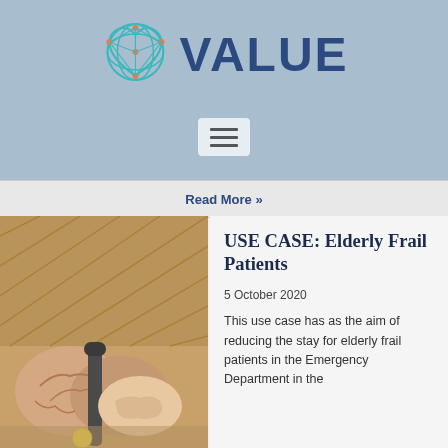[Figure (logo): VALUE project logo — teal heart/network icon followed by bold dark blue text 'VALUE']
[Figure (infographic): Hamburger menu icon (three horizontal lines) in a light grey rounded box]
Read More »
[Figure (photo): Close-up photograph of elderly person's hands, wearing a knitted sweater, holding a walking stick or handle, with another person's younger hand touching theirs. Warm tan/amber tones.]
USE CASE: Elderly Frail Patients
5 October 2020
This use case has as the aim of reducing the stay for elderly frail patients in the Emergency Department in the